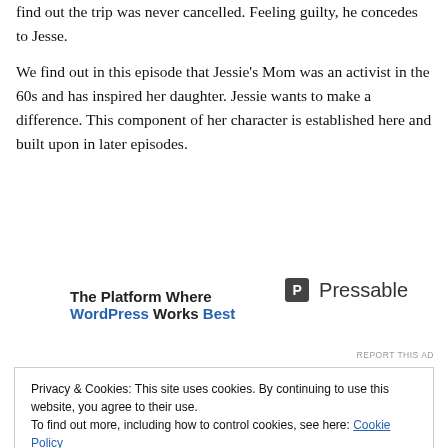find out the trip was never cancelled. Feeling guilty, he concedes to Jesse.
We find out in this episode that Jessie's Mom was an activist in the 60s and has inspired her daughter. Jessie wants to make a difference. This component of her character is established here and built upon in later episodes.
[Figure (other): Advertisement banner: 'The Platform Where WordPress Works Best' with Pressable logo]
REPORT THIS AD
Privacy & Cookies: This site uses cookies. By continuing to use this website, you agree to their use.
To find out more, including how to control cookies, see here: Cookie Policy
Close and accept
Have a 40 second look at what was happening in